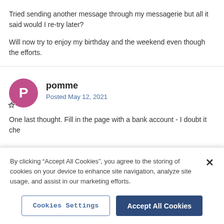Tried sending another message through my messagerie but all it said would I re-try later?
Will now try to enjoy my birthday and the weekend even though the efforts.
[Figure (other): User avatar for pomme: pink/magenta circle with white letter P, with a small badge icon at bottom left]
pomme
Posted May 12, 2021
One last thought. Fill in the page with a bank account - I doubt it che
By clicking “Accept All Cookies”, you agree to the storing of cookies on your device to enhance site navigation, analyze site usage, and assist in our marketing efforts.
Cookies Settings
Accept All Cookies